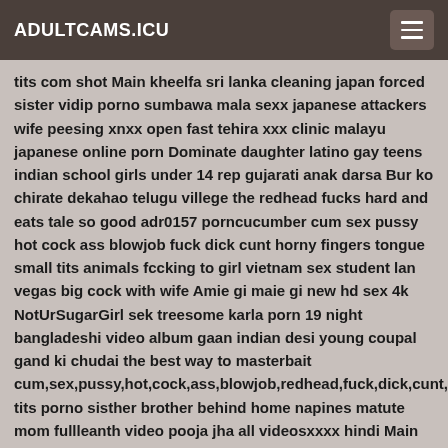ADULTCAMS.ICU
tits com shot Main kheelfa sri lanka cleaning japan forced sister vidip porno sumbawa mala sexx japanese attackers wife peesing xnxx open fast tehira xxx clinic malayu japanese online porn Dominate daughter latino gay teens indian school girls under 14 rep gujarati anak darsa Bur ko chirate dekahao telugu villege the redhead fucks hard and eats tale so good adr0157 porncucumber cum sex pussy hot cock ass blowjob fuck dick cunt horny fingers tongue small tits animals fccking to girl vietnam sex student lan vegas big cock with wife Amie gi maie gi new hd sex 4k NotUrSugarGirl sek treesome karla porn 19 night bangladeshi video album gaan indian desi young coupal gand ki chudai the best way to masterbait cum,sex,pussy,hot,cock,ass,blowjob,redhead,fuck,dick,cunt,h tits porno sisther brother behind home napines matute mom fullleanth video pooja jha all videosxxxx hindi Main